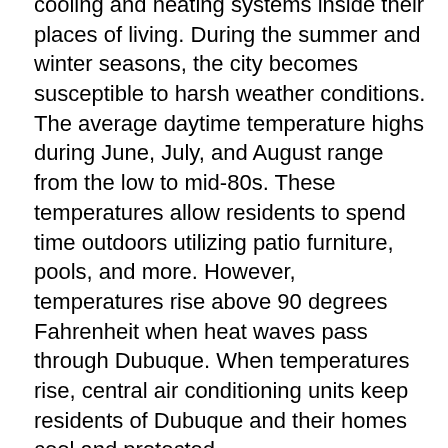cooling and heating systems inside their places of living. During the summer and winter seasons, the city becomes susceptible to harsh weather conditions. The average daytime temperature highs during June, July, and August range from the low to mid-80s. These temperatures allow residents to spend time outdoors utilizing patio furniture, pools, and more. However, temperatures rise above 90 degrees Fahrenheit when heat waves pass through Dubuque. When temperatures rise, central air conditioning units keep residents of Dubuque and their homes cool and protected.
Residents of Dubuque, Iowa should also have access to heating systems inside their homes. The city becomes susceptible to harsh weather conditions during the winter seasons. During the long months of winter, when the average daytime temperature highs range from the upper-20s to low-30s, residents of Dubuque spend much of their time warming themselves beside their fireplaces. Heating pumps provide sufficient heating power to Dubuque homes. When temperatures drop well below freezing